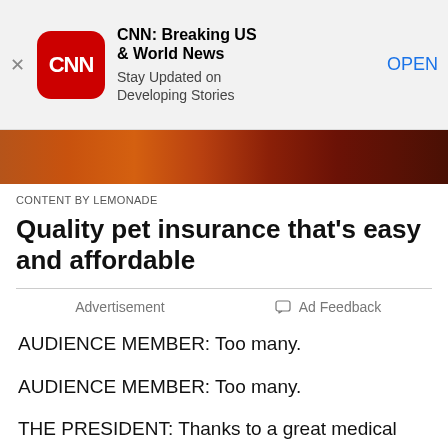[Figure (screenshot): CNN app banner with red CNN logo, app name 'CNN: Breaking US & World News', subtitle 'Stay Updated on Developing Stories', and OPEN button]
[Figure (photo): Partial photo strip showing reddish-brown tones, appears to be an animal or similar subject]
CONTENT BY LEMONADE
Quality pet insurance that’s easy and affordable
Advertisement
Ad Feedback
AUDIENCE MEMBER: Too many.
AUDIENCE MEMBER: Too many.
THE PRESIDENT: Thanks to a great medical team